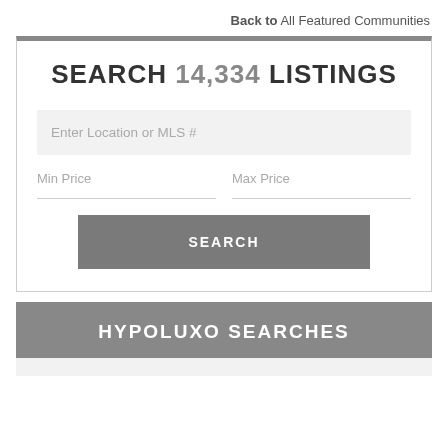Back to All Featured Communities
SEARCH 14,334 LISTINGS
Enter Location or MLS #
Min Price
Max Price
SEARCH
HYPOLUXO SEARCHES